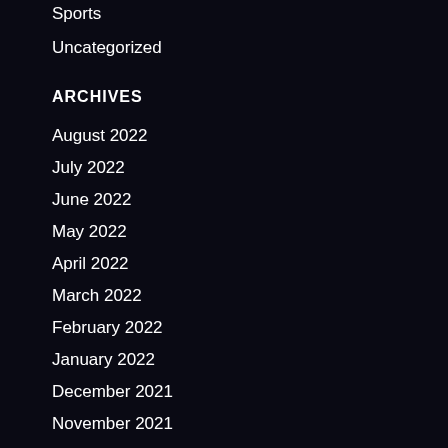Sports
Uncategorized
ARCHIVES
August 2022
July 2022
June 2022
May 2022
April 2022
March 2022
February 2022
January 2022
December 2021
November 2021
October 2021